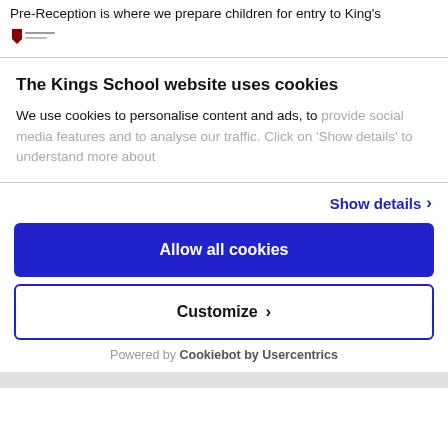Pre-Reception is where we prepare children for entry to King's
[Figure (logo): King's School small shield logo with text lines]
The Kings School website uses cookies
We use cookies to personalise content and ads, to provide social media features and to analyse our traffic. Click on 'Show details' to understand more about
Show details >
Allow all cookies
Customize >
Powered by Cookiebot by Usercentrics